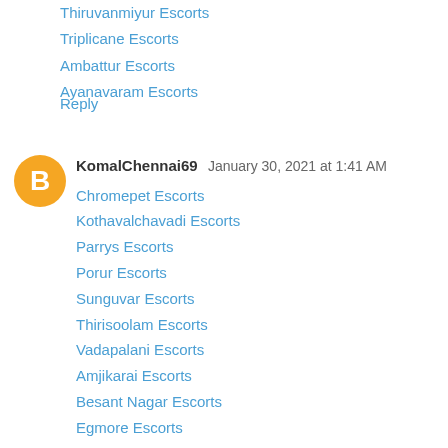Thiruvanmiyur Escorts
Triplicane Escorts
Ambattur Escorts
Ayanavaram Escorts
Reply
KomalChennai69  January 30, 2021 at 1:41 AM
Chromepet Escorts
Kothavalchavadi Escorts
Parrys Escorts
Porur Escorts
Sunguvar Escorts
Thirisoolam Escorts
Vadapalani Escorts
Amjikarai Escorts
Besant Nagar Escorts
Egmore Escorts
Reply